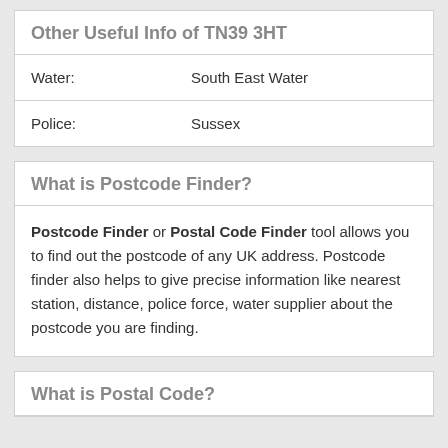Other Useful Info of TN39 3HT
| Water: | South East Water |
| Police: | Sussex |
What is Postcode Finder?
Postcode Finder or Postal Code Finder tool allows you to find out the postcode of any UK address. Postcode finder also helps to give precise information like nearest station, distance, police force, water supplier about the postcode you are finding.
What is Postal Code?